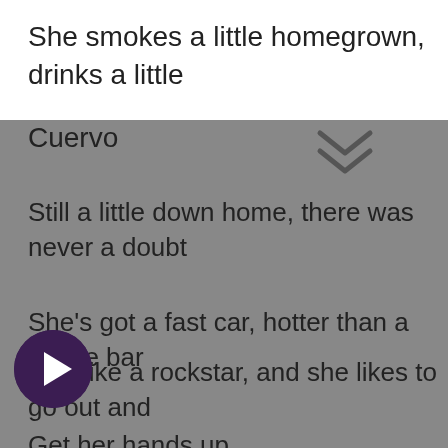She smokes a little homegrown, drinks a little Cuervo
Still a little down home, there was never a doubt
She's got a fast car, hotter than a dance bar
king like a rockstar, and she likes to go out and
Get her hands up